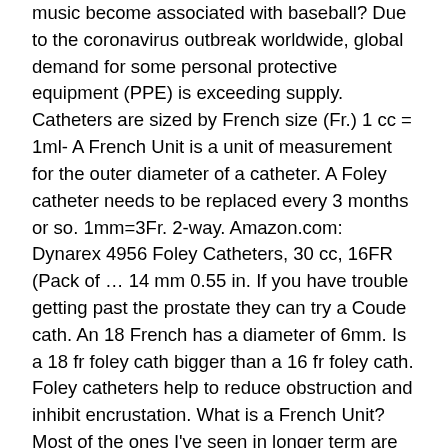music become associated with baseball? Due to the coronavirus outbreak worldwide, global demand for some personal protective equipment (PPE) is exceeding supply. Catheters are sized by French size (Fr.) 1 cc = 1ml- A French Unit is a unit of measurement for the outer diameter of a catheter. A Foley catheter needs to be replaced every 3 months or so. 1mm=3Fr. 2-way. Amazon.com: Dynarex 4956 Foley Catheters, 30 cc, 16FR (Pack of … 14 mm 0.55 in. If you have trouble getting past the prostate they can try a Coude cath. An 18 French has a diameter of 6mm. Is a 18 fr foley cath bigger than a 16 fr foley cath. Foley catheters help to reduce obstruction and inhibit encrustation. What is a French Unit? Most of the ones I've seen in longer term are 18's to 14's w/30cc balloons. Foley catheter insertion is a skill that every doctor should have. This metrication problem is further complicated by the mixed use of metric and imperial units in medical professions using catheters. Most often, it is inserted through the urethra. Have a single lumen with a small 1¼ cm opening. = 1mm (i.e. (The larger the French number, the larger